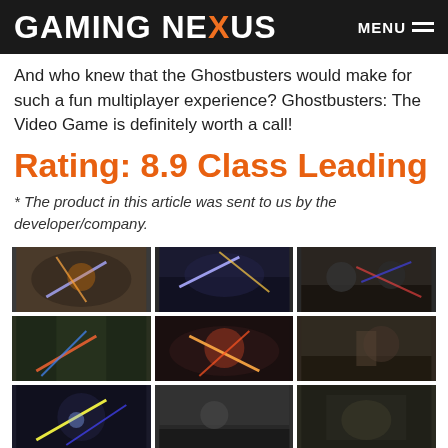GAMING NEXUS
And who knew that the Ghostbusters would make for such a fun multiplayer experience? Ghostbusters: The Video Game is definitely worth a call!
Rating: 8.9 Class Leading
* The product in this article was sent to us by the developer/company.
[Figure (photo): 3x4 grid of Ghostbusters: The Video Game screenshots showing gameplay scenes with proton pack effects, ghost battles, and character interactions.]